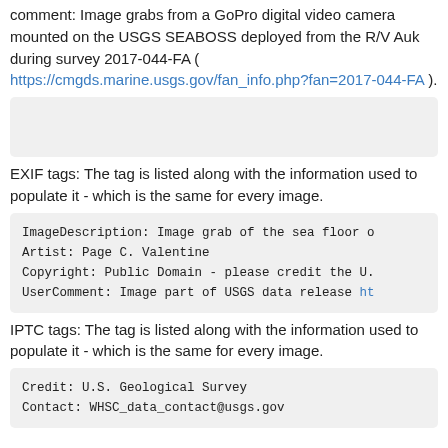comment: Image grabs from a GoPro digital video camera mounted on the USGS SEABOSS deployed from the R/V Auk during survey 2017-044-FA ( https://cmgds.marine.usgs.gov/fan_info.php?fan=2017-044-FA ).
[Figure (other): Empty gray box placeholder]
EXIF tags: The tag is listed along with the information used to populate it - which is the same for every image.
ImageDescription: Image grab of the sea floor o
Artist: Page C. Valentine
Copyright: Public Domain - please credit the U.
UserComment: Image part of USGS data release ht
IPTC tags: The tag is listed along with the information used to populate it - which is the same for every image.
Credit: U.S. Geological Survey
Contact: WHSC_data_contact@usgs.gov